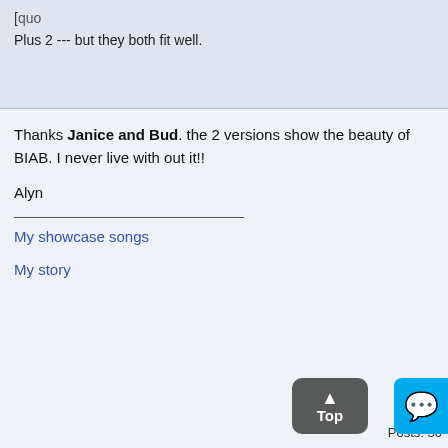Plus 2 --- but they both fit well.
Thanks Janice and Bud. the 2 versions show the beauty of BIAB. I never live with out it!!
Alyn
My showcase songs
My story
Top
Re: A Place that I go to [Re: floyd[User Showcase]] #266130 - 10/20/14 jane]
gibson
Posts: 30